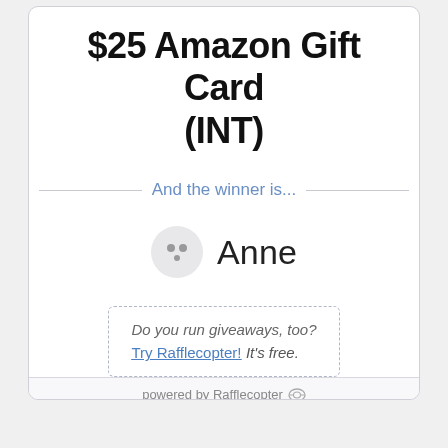$25 Amazon Gift Card (INT)
And the winner is...
Anne
Do you run giveaways, too? Try Rafflecopter! It's free.
powered by Rafflecopter